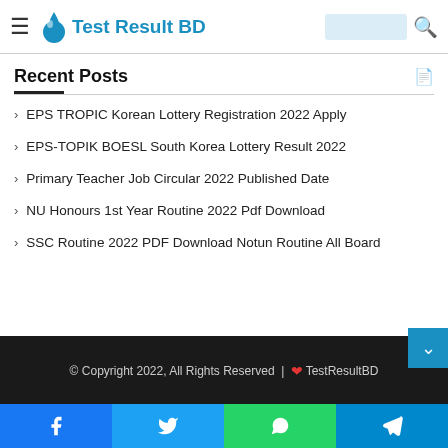Test Result BD
Recent Posts
EPS TROPIC Korean Lottery Registration 2022 Apply
EPS-TOPIK BOESL South Korea Lottery Result 2022
Primary Teacher Job Circular 2022 Published Date
NU Honours 1st Year Routine 2022 Pdf Download
SSC Routine 2022 PDF Download Notun Routine All Board
© Copyright 2022, All Rights Reserved | ❤ TestResultBD